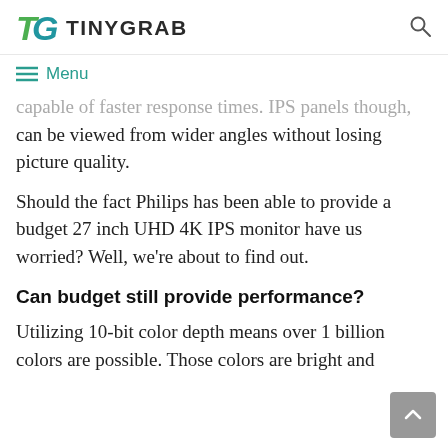TINYGRAB
≡ Menu
capable of faster response times. IPS panels though, can be viewed from wider angles without losing picture quality.
Should the fact Philips has been able to provide a budget 27 inch UHD 4K IPS monitor have us worried? Well, we're about to find out.
Can budget still provide performance?
Utilizing 10-bit color depth means over 1 billion colors are possible. Those colors are bright and